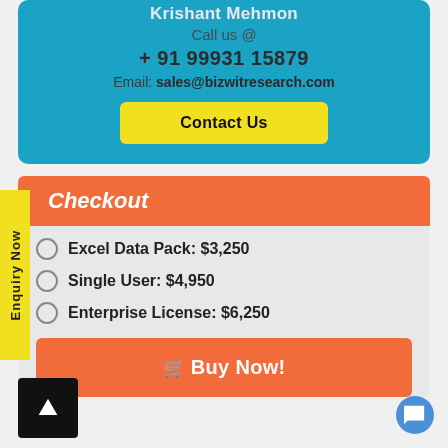Krishant Mehmon
Call us @
+ 91 99931 15879
Email: sales@bizwitresearch.com
Contact Us
Checkout
Excel Data Pack: $3,250
Single User: $4,950
Enterprise License: $6,250
Buy Now!
Enquiry Now